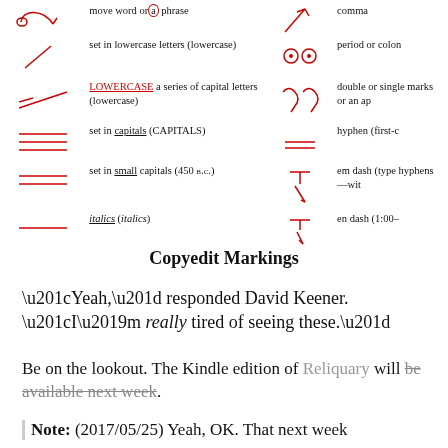[Figure (infographic): Copyediting marks table with red handwritten symbols in left and right columns and text descriptions. Left column symbols include: transposition arrow with loop, diagonal slash, flat wave line, triple underline, double underline, single underline, squiggle. Right column symbols include: arrows, circled dots, arrow squiggles, equals signs, fraction with squiggle, slash with arrow.]
Copyedit Markings
“Yeah,” responded David Keener. “I’m really tired of seeing these.”
Be on the lookout. The Kindle edition of Reliquary will be available next week.
Note: (2017/05/25) Yeah, OK. That next week